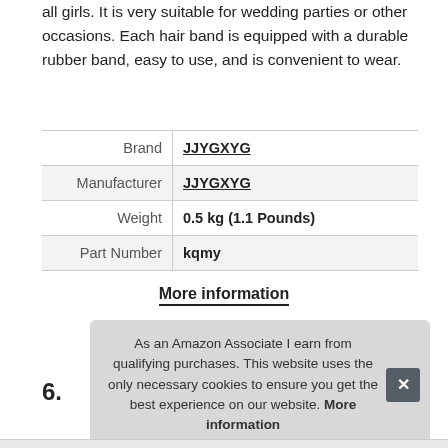all girls. It is very suitable for wedding parties or other occasions. Each hair band is equipped with a durable rubber band, easy to use, and is convenient to wear.
|  |  |
| --- | --- |
| Brand | JJYGXYG |
| Manufacturer | JJYGXYG |
| Weight | 0.5 kg (1.1 Pounds) |
| Part Number | kqmy |
More information
As an Amazon Associate I earn from qualifying purchases. This website uses the only necessary cookies to ensure you get the best experience on our website. More information
6.